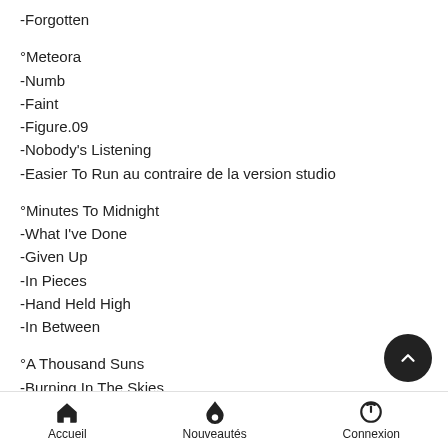-Forgotten
°Meteora
-Numb
-Faint
-Figure.09
-Nobody's Listening
-Easier To Run au contraire de la version studio
°Minutes To Midnight
-What I've Done
-Given Up
-In Pieces
-Hand Held High
-In Between
°A Thousand Suns
-Burning In The Skies
Accueil   Nouveautés   Connexion